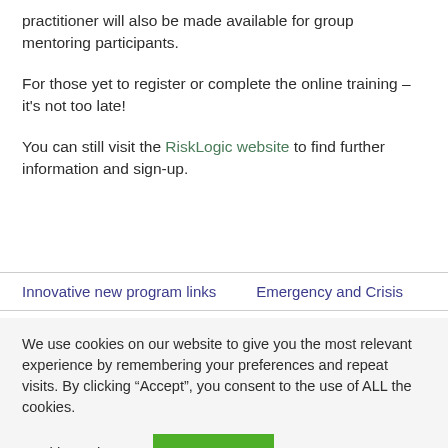practitioner will also be made available for group mentoring participants.
For those yet to register or complete the online training – it's not too late!
You can still visit the RiskLogic website to find further information and sign-up.
Innovative new program links   Emergency and Crisis
We use cookies on our website to give you the most relevant experience by remembering your preferences and repeat visits. By clicking “Accept”, you consent to the use of ALL the cookies.
Cookie settings   ACCEPT